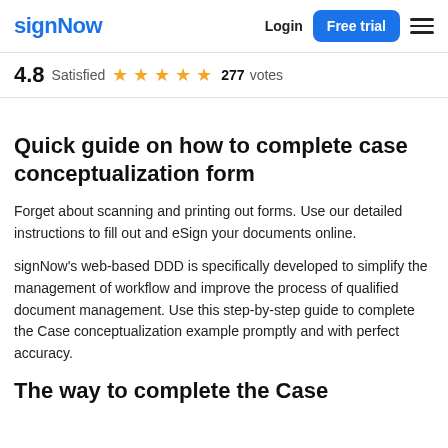signNow | Login | Free trial
4.8 Satisfied ★★★★★ 277 votes
Quick guide on how to complete case conceptualization form
Forget about scanning and printing out forms. Use our detailed instructions to fill out and eSign your documents online.
signNow's web-based DDD is specifically developed to simplify the management of workflow and improve the process of qualified document management. Use this step-by-step guide to complete the Case conceptualization example promptly and with perfect accuracy.
The way to complete the Case